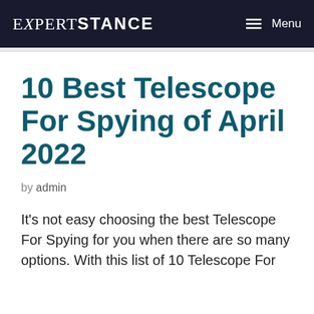EXPERTSTANCE  Menu
10 Best Telescope For Spying of April 2022
by admin
It's not easy choosing the best Telescope For Spying for you when there are so many options. With this list of 10 Telescope For